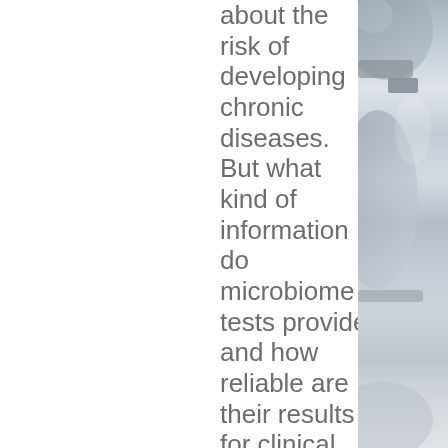about the risk of developing chronic diseases. But what kind of information do microbiome tests provide and how reliable are their results for clinical practice?
[Figure (photo): Partial view of laboratory equipment (microscope or scientific instrument), blurred and cropped, showing grey and white tones on the right side of the page.]